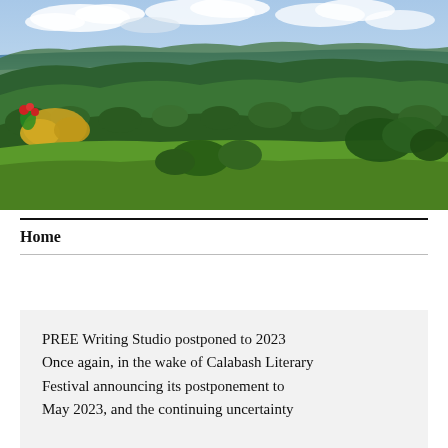[Figure (photo): Landscape photograph showing a lush tropical hillside with green vegetation, flowering shrubs with red flowers and yellow bushes in the foreground, rolling tree-covered hills in the middle ground, and a blue sea and cloudy sky in the background.]
Home
PREE Writing Studio postponed to 2023 Once again, in the wake of Calabash Literary Festival announcing its postponement to May 2023, and the continuing uncertainty